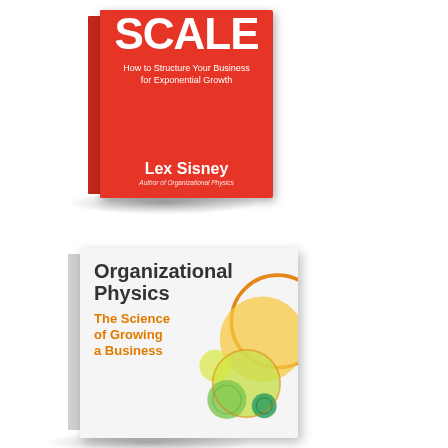[Figure (illustration): 3D book cover of 'SCALE: How to Structure Your Business for Exponential Growth' by Lex Sisney, red cover with white text. Book shown in 3D perspective with spine visible.]
[Figure (illustration): 3D book cover of 'Organizational Physics: The Science of Growing a Business', white/grey cover with dark grey and orange text, decorative colorful circles (orange, yellow, green) on right side. Book shown in 3D perspective with spine visible.]